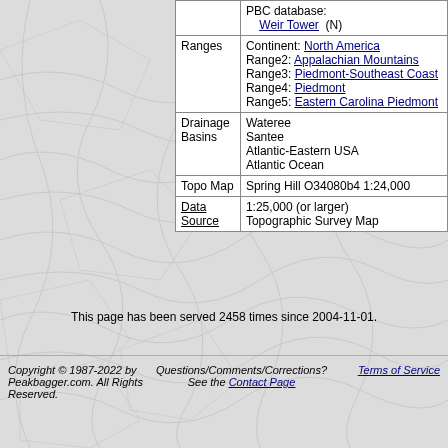|  |  |
| --- | --- |
|  | PBC database:
    Weir Tower  (N) |
| Ranges | Continent: North America
Range2: Appalachian Mountains
Range3: Piedmont-Southeast Coast
Range4: Piedmont
Range5: Eastern Carolina Piedmont |
| Drainage Basins | Wateree
Santee
Atlantic-Eastern USA
Atlantic Ocean |
| Topo Map | Spring Hill O34080b4 1:24,000 |
| Data Source | 1:25,000 (or larger)
Topographic Survey Map |
This page has been served 2458 times since 2004-11-01.
Copyright © 1987-2022 by Peakbagger.com. All Rights Reserved.   Questions/Comments/Corrections? See the Contact Page   Terms of Service